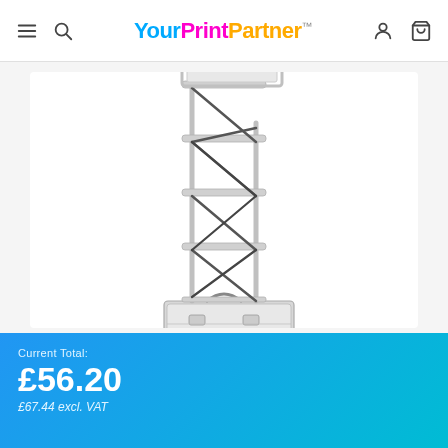YourPrintPartner™ — navigation header with hamburger menu, search, logo, account and cart icons
[Figure (photo): A tall folding literature display stand/rack with aluminium frame forming zigzag diamond shapes for holding brochures, shown fully extended and standing on an aluminium carry case with handle.]
Current Total: £56.20 £67.44 excl. VAT